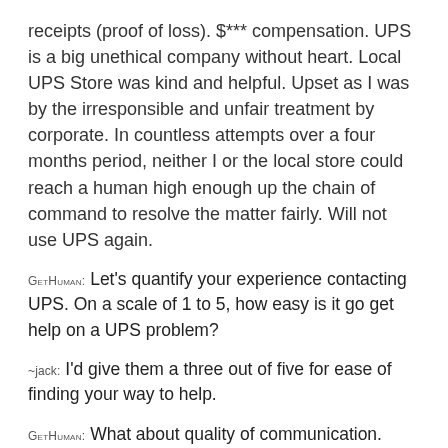receipts (proof of loss). $*** compensation. UPS is a big unethical company without heart. Local UPS Store was kind and helpful. Upset as I was by the irresponsible and unfair treatment by corporate. In countless attempts over a four months period, neither I or the local store could reach a human high enough up the chain of command to resolve the matter fairly. Will not use UPS again.
GetHuman: Let's quantify your experience contacting UPS. On a scale of 1 to 5, how easy is it go get help on a UPS problem?
~jack: I'd give them a three out of five for ease of finding your way to help.
GetHuman: What about quality of communication. How would you rate that on a 1 to 5 scale?
~jack: I'd give them a two out of five on communication.
GetHuman: And what about UPS's ability to quickly and